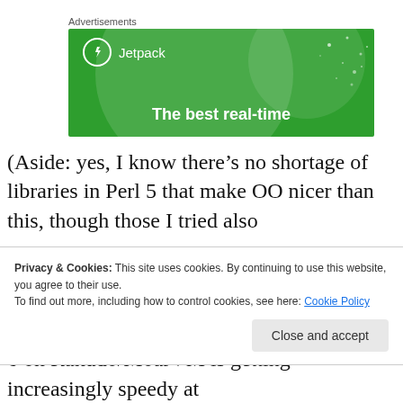Advertisements
[Figure (illustration): Jetpack advertisement banner with green background, logo, and tagline 'The best real-time']
(Aside: yes, I know there’s no shortage of libraries in Perl 5 that make OO nicer than this, though those I tried also
Privacy & Cookies: This site uses cookies. By continuing to use this website, you agree to their use.
To find out more, including how to control cookies, see here: Cookie Policy
Close and accept
6 on Rakudo/MoarVM is getting increasingly speedy at